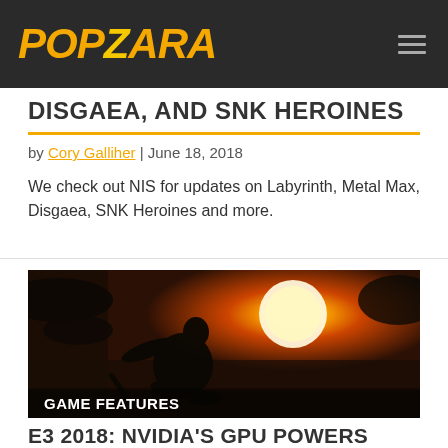POPZARA
DISGAEA, AND SNK HEROINES
by Cory Galliher | June 18, 2018
We check out NIS for updates on Labyrinth, Metal Max, Disgaea, SNK Heroines and more.
[Figure (photo): Dark atmospheric image of a female character (Lara Croft from Shadow of the Tomb Raider) crouching against a tree with a glowing orange sun/eclipse in the background. A 'GAME FEATURES' label appears in the lower left.]
E3 2018: NVIDIA'S GPU POWERS SHADOW OF THE TOMB RAIDER TO LIFE